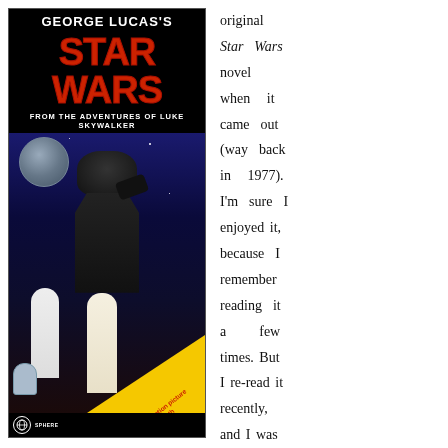[Figure (photo): Book cover of George Lucas's Star Wars: From the Adventures of Luke Skywalker (Sphere paperback edition). Black top with white George Lucas text, large red STAR WARS lettering, subtitle in white, cover art showing Darth Vader looming large with Death Star, Princess Leia and Luke Skywalker in foreground, R2-D2 at bottom left, yellow diagonal banner reading 'A spectacular motion picture from Twentieth Century Fox!' Sphere publisher logo at bottom left.]
original Star Wars novel when it came out (way back in 1977). I'm sure I enjoyed it, because I remember reading it a few times. But I re-read it recently, and I was